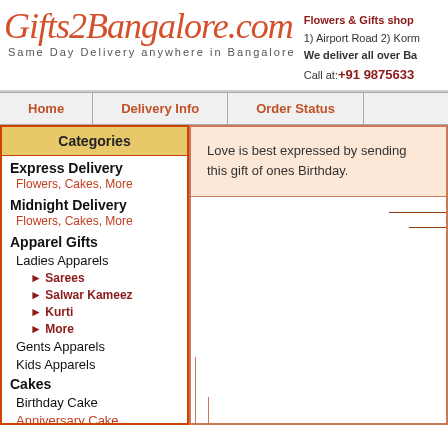Gifts2Bangalore.com
Same Day Delivery anywhere in Bangalore
Flowers & Gifts shop
1) Airport Road 2) Korm
We deliver all over Ba
Call at: +91 9875633
Home
Delivery Info
Order Status
Categories
Express Delivery
Flowers, Cakes, More
Midnight Delivery
Flowers, Cakes, More
Apparel Gifts
Ladies Apparels
Sarees
Salwar Kameez
Kurti
More
Gents Apparels
Kids Apparels
Cakes
Birthday Cake
Anniversary Cake
Wedding Cake
Love is best expressed by sending this gift of ones Birthday.